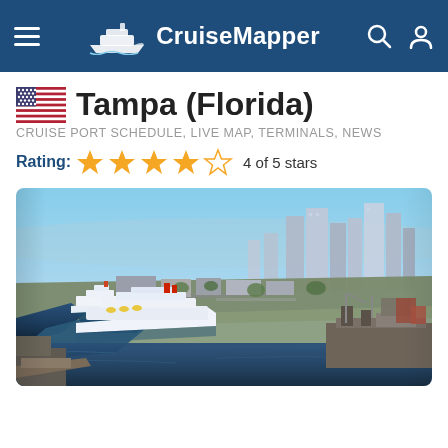CruiseMapper
Tampa (Florida)
CRUISE PORT SCHEDULE, LIVE MAP, TERMINALS, NEWS
Rating: 4 of 5 stars
[Figure (photo): Aerial view of Tampa cruise port and downtown Tampa skyline, showing cruise ships docked along the Hillsborough River with the city skyline in the background.]